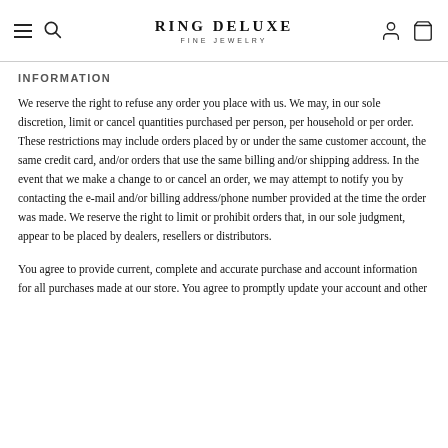RING DELUXE FINE JEWELRY
INFORMATION
We reserve the right to refuse any order you place with us. We may, in our sole discretion, limit or cancel quantities purchased per person, per household or per order. These restrictions may include orders placed by or under the same customer account, the same credit card, and/or orders that use the same billing and/or shipping address. In the event that we make a change to or cancel an order, we may attempt to notify you by contacting the e-mail and/or billing address/phone number provided at the time the order was made. We reserve the right to limit or prohibit orders that, in our sole judgment, appear to be placed by dealers, resellers or distributors.
You agree to provide current, complete and accurate purchase and account information for all purchases made at our store. You agree to promptly update your account and other